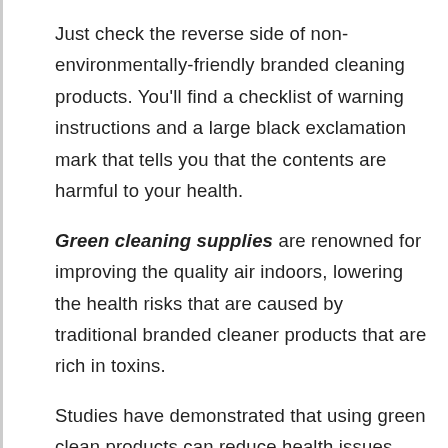Just check the reverse side of non-environmentally-friendly branded cleaning products. You'll find a checklist of warning instructions and a large black exclamation mark that tells you that the contents are harmful to your health.
Green cleaning supplies are renowned for improving the quality air indoors, lowering the health risks that are caused by traditional branded cleaner products that are rich in toxins.
Studies have demonstrated that using green clean products can reduce health issues such as eye irritation, respiratory problems, skin conditions, allergies, headaches and nausea. If you seem to